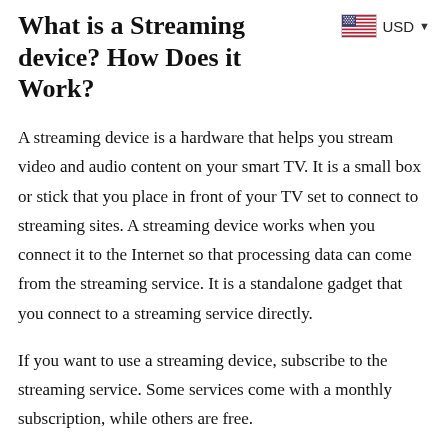What is a Streaming device? How Does it Work?
[Figure (other): US flag icon with USD currency selector dropdown]
A streaming device is a hardware that helps you stream video and audio content on your smart TV. It is a small box or stick that you place in front of your TV set to connect to streaming sites. A streaming device works when you connect it to the Internet so that processing data can come from the streaming service. It is a standalone gadget that you connect to a streaming service directly.
If you want to use a streaming device, subscribe to the streaming service. Some services come with a monthly subscription, while others are free.
Best Media Streaming Devices for 2022